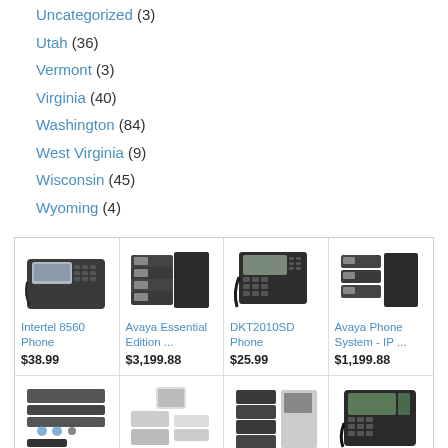Uncategorized (3)
Utah (36)
Vermont (3)
Virginia (40)
Washington (84)
West Virginia (9)
Wisconsin (45)
Wyoming (4)
[Figure (photo): Intertel 8560 Phone product image]
Intertel 8560 Phone
$38.99
[Figure (photo): Avaya Essential Edition product image]
Avaya Essential Edition ...
$3,199.88
[Figure (photo): DKT2010SD Phone product image]
DKT2010SD Phone
$25.99
[Figure (photo): Avaya Phone System - IP ... product image]
Avaya Phone System - IP ...
$1,199.88
[Figure (photo): Cisco 20 VoIP product image]
Cisco 20 VoIP
[Figure (photo): Syspine product image]
Syspine
[Figure (photo): XBlue Networks product image]
XBlue Networks
[Figure (photo): Norstar T7208 product image]
Norstar T7208